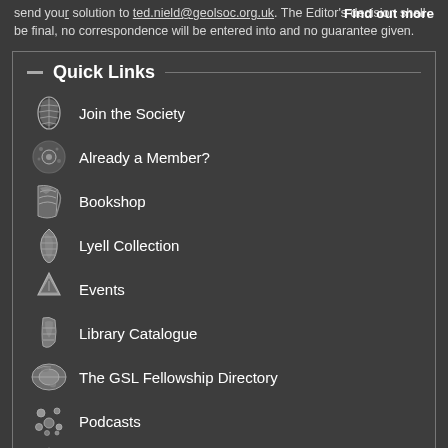send your solution to ted.nield@geolsoc.org.uk. The Editor's decision shall be final, no correspondence will be entered into and no guarantee given.
Find out more
Quick Links
Join the Society
Already a Member?
Bookshop
Lyell Collection
Events
Library Catalogue
The GSL Fellowship Directory
Podcasts
Geoscientist Online
Continuing Professional Development (CPD)
Venue hire: The Geological Society of London,